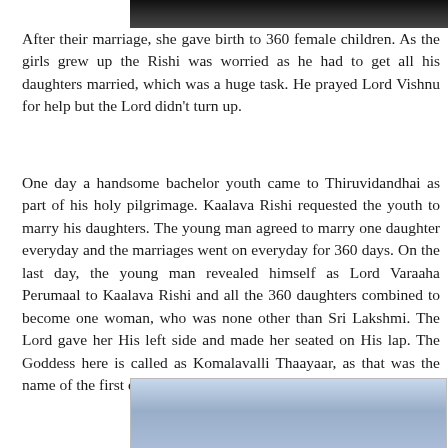[Figure (photo): Top portion of a dark-colored architectural or sculptural image, cropped at the top of the page]
After their marriage, she gave birth to 360 female children. As the girls grew up the Rishi was worried as he had to get all his daughters married, which was a huge task. He prayed Lord Vishnu for help but the Lord didn't turn up.
One day a handsome bachelor youth came to Thiruvidandhai as part of his holy pilgrimage. Kaalava Rishi requested the youth to marry his daughters. The young man agreed to marry one daughter everyday and the marriages went on everyday for 360 days. On the last day, the young man revealed himself as Lord Varaaha Perumaal to Kaalava Rishi and all the 360 daughters combined to become one woman, who was none other than Sri Lakshmi. The Lord gave her His left side and made her seated on His lap. The Goddess here is called as Komalavalli Thaayaar, as that was the name of the first daughter of Kaalava Rishi.
[Figure (photo): Blue sky with clouds, bottom portion of an outdoor photograph]